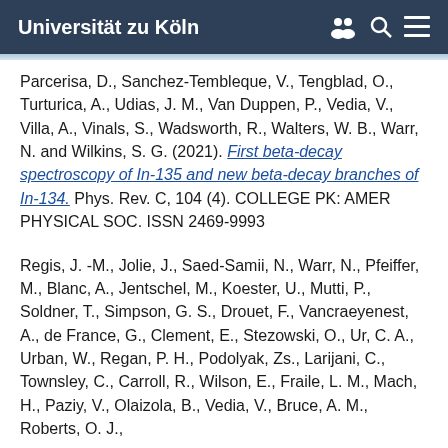Universität zu Köln
Parcerisa, D., Sanchez-Tembleque, V., Tengblad, O., Turturica, A., Udias, J. M., Van Duppen, P., Vedia, V., Villa, A., Vinals, S., Wadsworth, R., Walters, W. B., Warr, N. and Wilkins, S. G. (2021). First beta-decay spectroscopy of In-135 and new beta-decay branches of In-134. Phys. Rev. C, 104 (4). COLLEGE PK: AMER PHYSICAL SOC. ISSN 2469-9993
Regis, J. -M., Jolie, J., Saed-Samii, N., Warr, N., Pfeiffer, M., Blanc, A., Jentschel, M., Koester, U., Mutti, P., Soldner, T., Simpson, G. S., Drouet, F., Vancraeyenest, A., de France, G., Clement, E., Stezowski, O., Ur, C. A., Urban, W., Regan, P. H., Podolyak, Zs., Larijani, C., Townsley, C., Carroll, R., Wilson, E., Fraile, L. M., Mach, H., Paziy, V., Olaizola, B., Vedia, V., Bruce, A. M., Roberts, O. J., ...